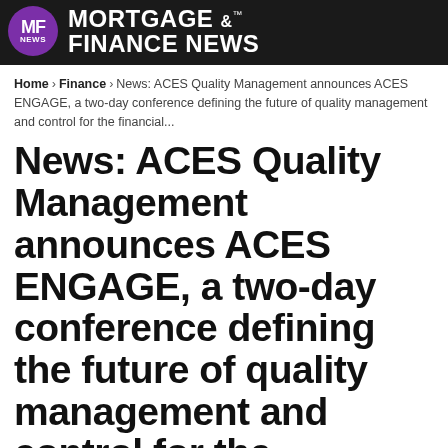MORTGAGE & FINANCE NEWS
Home › Finance › News: ACES Quality Management announces ACES ENGAGE, a two-day conference defining the future of quality management and control for the financial...
News: ACES Quality Management announces ACES ENGAGE, a two-day conference defining the future of quality management and control for the financial services industry
By Suzee Quanta - Nov 3, 2021  6:59 AM EDT